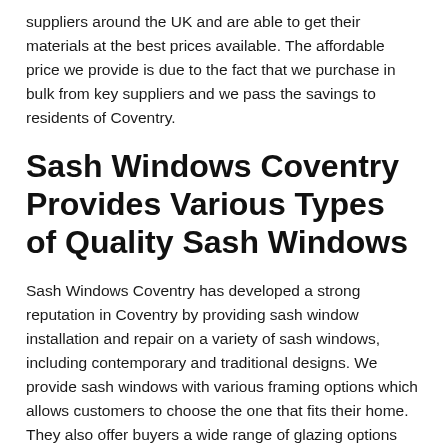suppliers around the UK and are able to get their materials at the best prices available. The affordable price we provide is due to the fact that we purchase in bulk from key suppliers and we pass the savings to residents of Coventry.
Sash Windows Coventry Provides Various Types of Quality Sash Windows
Sash Windows Coventry has developed a strong reputation in Coventry by providing sash window installation and repair on a variety of sash windows, including contemporary and traditional designs. We provide sash windows with various framing options which allows customers to choose the one that fits their home. They also offer buyers a wide range of glazing options depending on function and need. Sash Windows Coventry